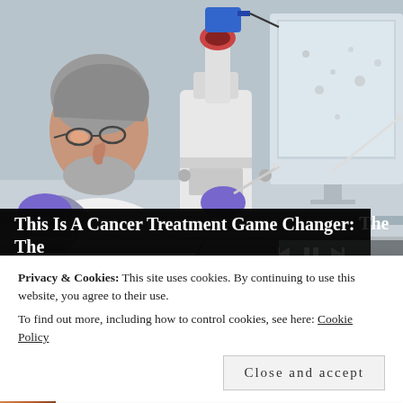[Figure (screenshot): Video player showing a scientist/researcher in a white lab coat and purple gloves using a microscope in a laboratory. A blue camera is mounted on the microscope. A computer monitor is visible on the right showing magnified specimens. Video playback controls (skip back, pause, skip forward) are visible at the bottom right of the video frame. A progress bar is shown at the bottom of the video.]
This Is A Cancer Treatment Game Changer: The
Privacy & Cookies: This site uses cookies. By continuing to use this website, you agree to their use.
To find out more, including how to control cookies, see here: Cookie Policy
Close and accept
bestmedicareplans.com